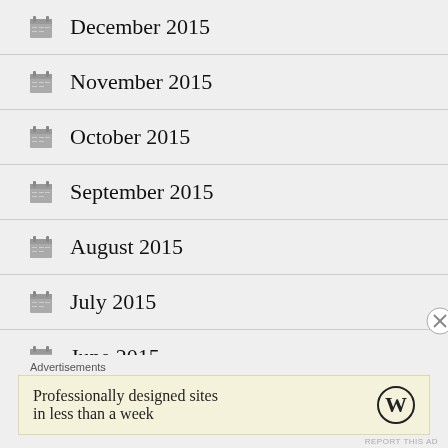December 2015
November 2015
October 2015
September 2015
August 2015
July 2015
June 2015
May 2015
Advertisements
Professionally designed sites in less than a week